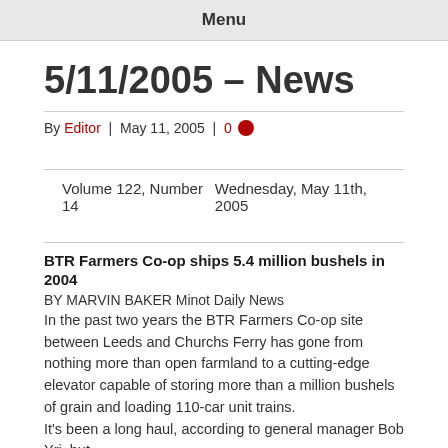Menu
5/11/2005 – News
By Editor | May 11, 2005 | 0
Volume 122, Number 14    Wednesday, May 11th, 2005
BTR Farmers Co-op ships 5.4 million bushels in 2004
BY MARVIN BAKER Minot Daily News
In the past two years the BTR Farmers Co-op site between Leeds and Churchs Ferry has gone from nothing more than open farmland to a cutting-edge elevator capable of storing more than a million bushels of grain and loading 110-car unit trains.
It's been a long haul, according to general manager Bob Yri, but